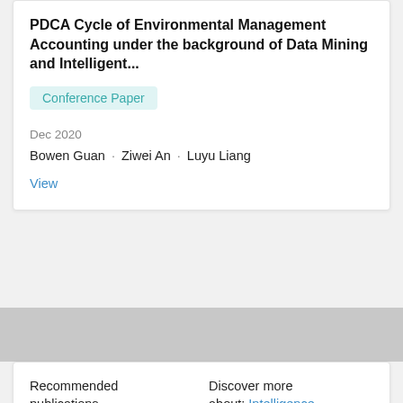PDCA Cycle of Environmental Management Accounting under the background of Data Mining and Intelligent...
Conference Paper
Dec 2020
Bowen Guan · Ziwei An · Luyu Liang
View
Recommended publications
Discover more about: Intelligence
Article
The construction of english teachers' classroom teaching